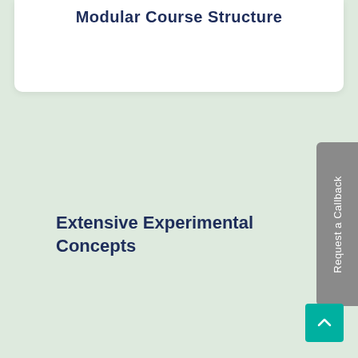Modular Course Structure
Extensive Experimental Concepts
Request a Callback
[Figure (other): Back to top button with upward arrow icon, teal/green background]